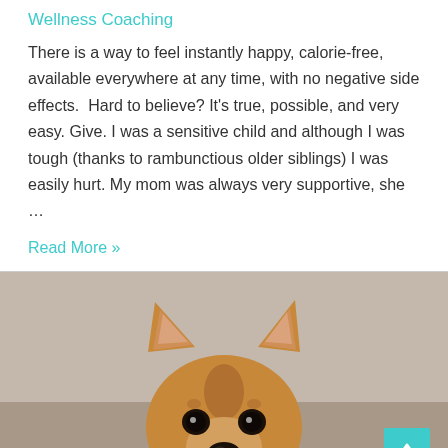Wellness Coaching
There is a way to feel instantly happy, calorie-free, available everywhere at any time, with no negative side effects.  Hard to believe? It's true, possible, and very easy. Give. I was a sensitive child and although I was tough (thanks to rambunctious older siblings) I was easily hurt. My mom was always very supportive, she …
Read More »
[Figure (photo): Close-up photo of a dog (possibly a German Shepherd mix) looking directly at the camera with alert ears and expressive eyes, against a beige/taupe background.]